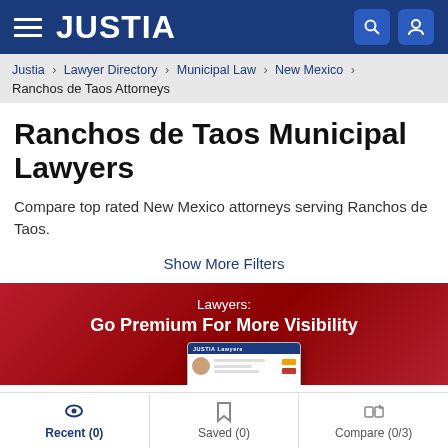JUSTIA
Justia › Lawyer Directory › Municipal Law › New Mexico › Ranchos de Taos Attorneys
Ranchos de Taos Municipal Lawyers
Compare top rated New Mexico attorneys serving Ranchos de Taos.
Show More Filters
[Figure (infographic): Promotional banner with red gradient background showing 'Lawyers: Go Premium For More Visibility' with a mock Justia Lawyers app screenshot and a yellow button]
Recent (0)  Saved (0)  Compare (0/3)